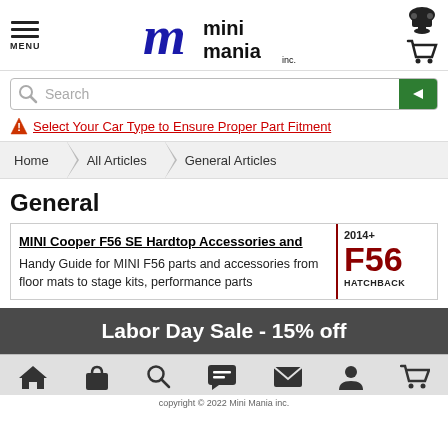Mini Mania Inc. - MENU header with logo and icons
Search
Select Your Car Type to Ensure Proper Part Fitment
Home > All Articles > General Articles
General
MINI Cooper F56 SE Hardtop Accessories and - Handy Guide for MINI F56 parts and accessories from floor mats to stage kits, performance parts
[Figure (illustration): 2014+ F56 HATCHBACK badge/label image with dark red F56 text]
Labor Day Sale - 15% off
copyright © 2022 Mini Mania inc.